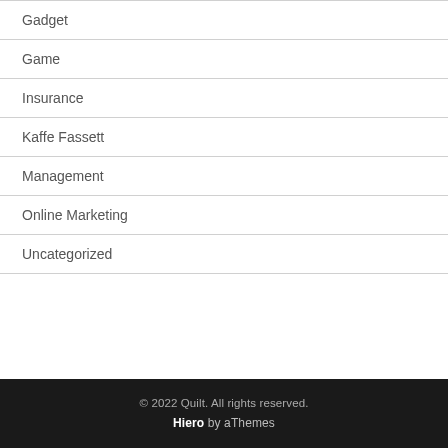Gadget
Game
Insurance
Kaffe Fassett
Management
Online Marketing
Uncategorized
© 2022 Quilt. All rights reserved. Hiero by aThemes